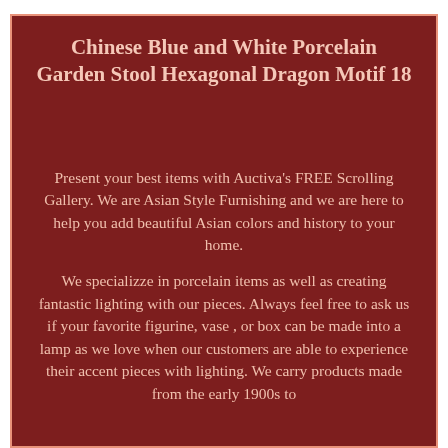Chinese Blue and White Porcelain Garden Stool Hexagonal Dragon Motif 18
Present your best items with Auctiva's FREE Scrolling Gallery. We are Asian Style Furnishing and we are here to help you add beautiful Asian colors and history to your home.
We specializze in porcelain items as well as creating fantastic lighting with our pieces. Always feel free to ask us if your favorite figurine, vase , or box can be made into a lamp as we love when our customers are able to experience their accent pieces with lighting. We carry products made from the early 1900s to